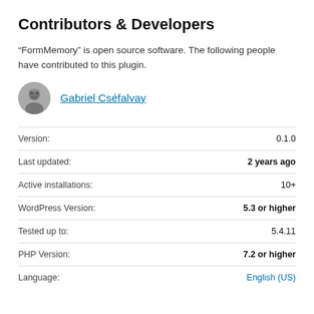Contributors & Developers
“FormMemory” is open source software. The following people have contributed to this plugin.
[Figure (photo): Avatar photo of Gabriel Cséfalvay, a circular grayscale portrait]
Gabriel Cséfalvay
|  |  |
| --- | --- |
| Version: | 0.1.0 |
| Last updated: | 2 years ago |
| Active installations: | 10+ |
| WordPress Version: | 5.3 or higher |
| Tested up to: | 5.4.11 |
| PHP Version: | 7.2 or higher |
| Language: | English (US) |